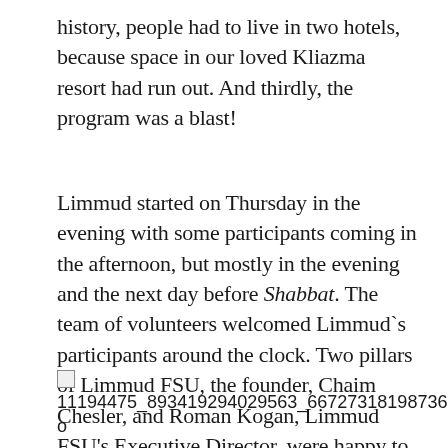history, people had to live in two hotels, because space in our loved Kliazma resort had run out. And thirdly, the program was a blast!
Limmud started on Thursday in the evening with some participants coming in the afternoon, but mostly in the evening and the next day before Shabbat. The team of volunteers welcomed Limmud`s participants around the clock. Two pillars of Limmud FSU, the founder, Chaim Chesler, and Roman Kogan, Limmud FSU's Executive Director, were happy to see the well-knit volunteer team in action.
[Figure (other): Broken image placeholder with filename: 11194475_893419294029563_667273181987367286_o]